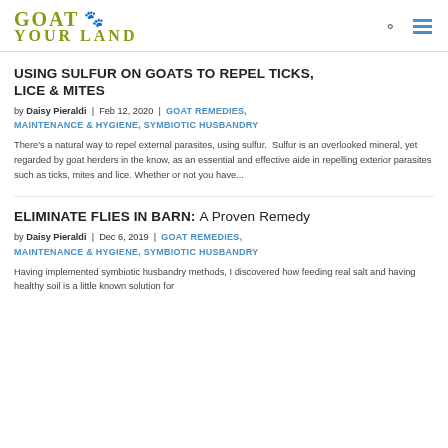[Figure (logo): Goat Your Land logo with stylized hoof icons and olive/yellow-green text]
USING SULFUR ON GOATS TO REPEL TICKS, LICE & MITES
by Daisy Pieraldi | Feb 12, 2020 | GOAT REMEDIES, MAINTENANCE & HYGIENE, SYMBIOTIC HUSBANDRY
There's a natural way to repel external parasites, using sulfur.  Sulfur is an overlooked mineral, yet regarded by goat herders in the know, as an essential and effective aide in repelling exterior parasites such as ticks, mites and lice. Whether or not you have...
ELIMINATE FLIES IN BARN: A Proven Remedy
by Daisy Pieraldi | Dec 6, 2019 | GOAT REMEDIES, MAINTENANCE & HYGIENE, SYMBIOTIC HUSBANDRY
Having implemented symbiotic husbandry methods, I discovered how feeding real salt and having healthy soil is a little known solution for